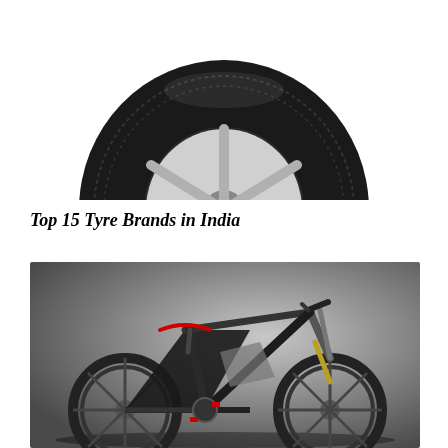[Figure (photo): Close-up photo of an MRF ZVT tyre with alloy wheel on white background, bottom half visible]
Top 15 Tyre Brands in India
[Figure (photo): Photo of a modern futuristic black electric bicycle with large disc wheels, red accents, on a grey gradient background]